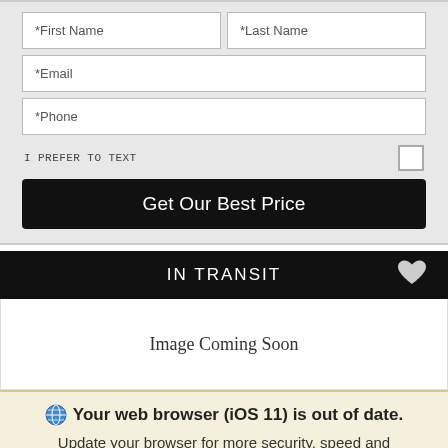[Figure (screenshot): Web form with First Name, Last Name, Email, Phone fields, I PREFER TO TEXT checkbox, and Get Our Best Price button on a gray background]
IN TRANSIT
[Figure (screenshot): White area with text 'Image Coming Soon' centered]
Your web browser (iOS 11) is out of date. Update your browser for more security, speed and the best experience on this site.
Update browser   Ignore